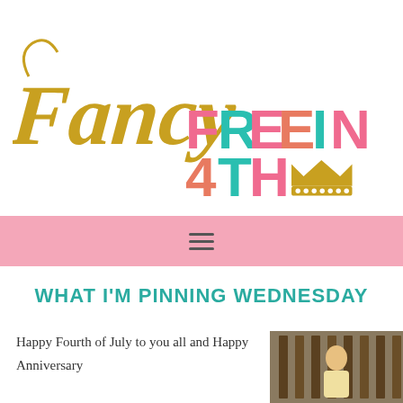[Figure (logo): Fancy Free in 4th blog logo with gold script 'Fancy' and colorful block letters 'FREE IN 4TH' with a gold crown]
[Figure (other): Pink navigation bar with hamburger menu icon]
WHAT I'M PINNING WEDNESDAY
Happy Fourth of July to you all and Happy Anniversary
[Figure (photo): Photograph showing a person outdoors with wooden fence/railing in background]